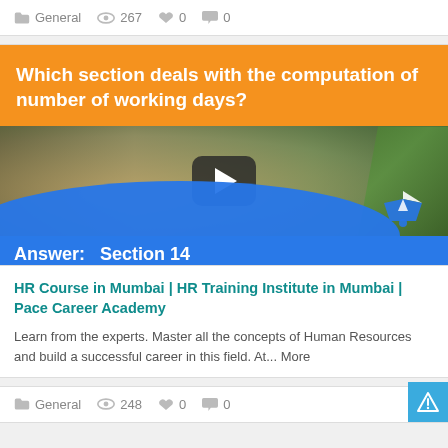General  267  0  0
[Figure (screenshot): Video thumbnail with orange header text 'Which section deals with the computation of number of working days?', a blurred plant/coins background image, a play button in the center, a blue curved overlay at the bottom, and 'Answer: Section 14' text with timestamp '00:00:30']
HR Course in Mumbai | HR Training Institute in Mumbai | Pace Career Academy
Learn from the experts. Master all the concepts of Human Resources and build a successful career in this field. At... More
General  248  0  0